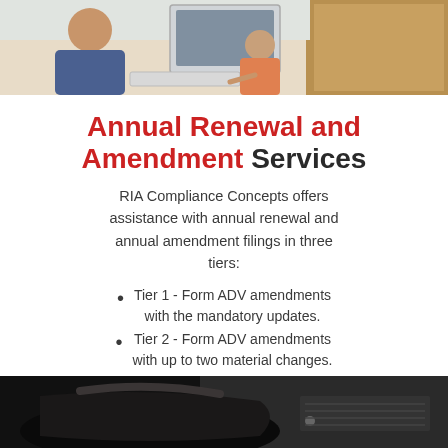[Figure (photo): Top photo: overhead view of two people working at a desk with a computer monitor, keyboard and papers]
Annual Renewal and Amendment Services
RIA Compliance Concepts offers assistance with annual renewal and annual amendment filings in three tiers:
Tier 1 - Form ADV amendments with the mandatory updates.
Tier 2 - Form ADV amendments with up to two material changes.
Tier 3 - Form ADV amendments with 3+ material changes.
[Figure (photo): Bottom photo: close-up of dark objects on a desk, appears to be a bag or briefcase with office equipment in background]